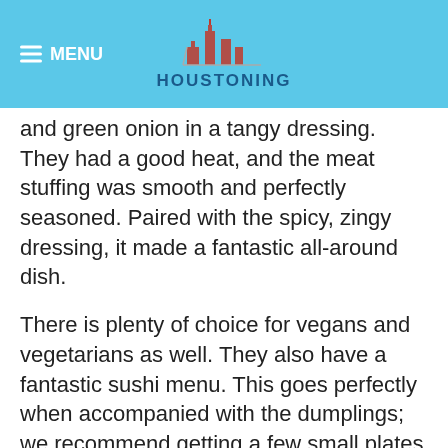≡ MENU   HOUSTONING
and green onion in a tangy dressing. They had a good heat, and the meat stuffing was smooth and perfectly seasoned. Paired with the spicy, zingy dressing, it made a fantastic all-around dish.
There is plenty of choice for vegans and vegetarians as well. They also have a fantastic sushi menu. This goes perfectly when accompanied with the dumplings; we recommend getting a few small plates to share between your group so that you can get a taste of more items on this exciting menu. Even then, it will leave you wanting to return to try even more.